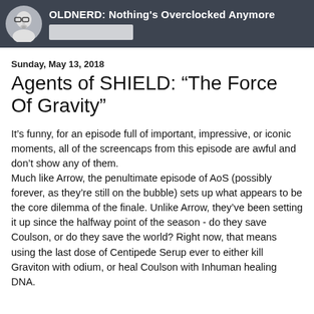OLDNERD: Nothing's Overclocked Anymore
Sunday, May 13, 2018
Agents of SHIELD: “The Force Of Gravity”
It’s funny, for an episode full of important, impressive, or iconic moments, all of the screencaps from this episode are awful and don’t show any of them.
Much like Arrow, the penultimate episode of AoS (possibly forever, as they’re still on the bubble) sets up what appears to be the core dilemma of the finale. Unlike Arrow, they’ve been setting it up since the halfway point of the season - do they save Coulson, or do they save the world? Right now, that means using the last dose of Centipede Serup ever to either kill Graviton with odium, or heal Coulson with Inhuman healing DNA.